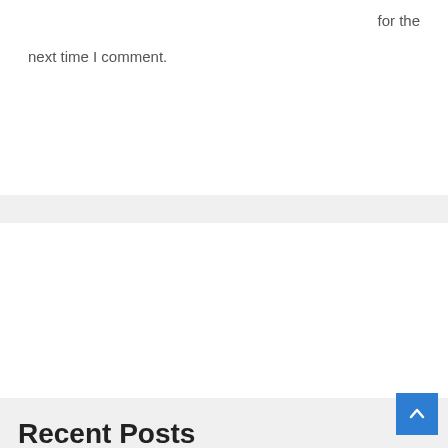for the
next time I comment.
Post Comment »
Search
Search
Recent Posts